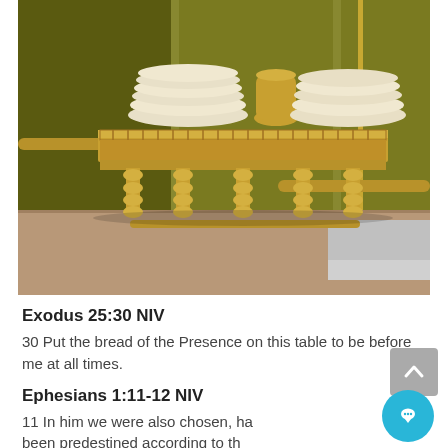[Figure (photo): A golden/brass ornate table (table of showbread) with turned legs and a decorative rail, holding stacked round bread loaves and a small pitcher, displayed against a dark olive/green paneled wall background.]
Exodus 25:30 NIV
30 Put the bread of the Presence on this table to be before me at all times.
Ephesians 1:11-12 NIV
11 In him we were also chosen, ha been predestined according to th plan of him who works out everything in